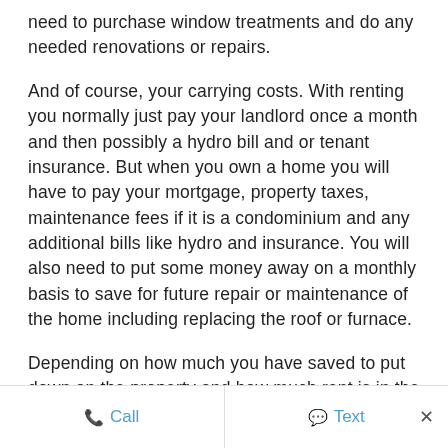need to purchase window treatments and do any needed renovations or repairs.
And of course, your carrying costs. With renting you normally just pay your landlord once a month and then possibly a hydro bill and or tenant insurance. But when you own a home you will have to pay your mortgage, property taxes, maintenance fees if it is a condominium and any additional bills like hydro and insurance. You will also need to put some money away on a monthly basis to save for future repair or maintenance of the home including replacing the roof or furnace.
Depending on how much you have saved to put down on the property and how much rent is in the city, you would have to run the numbers yourself to see what makes sense. But make sure you
Call   Text